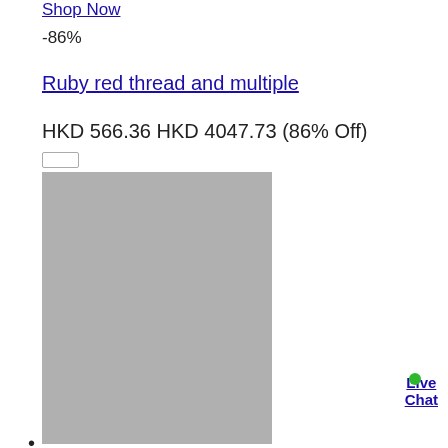Shop Now
-86%
Ruby red thread and multiple
HKD 566.36 HKD 4047.73 (86% Off)
[Figure (photo): Product image placeholder - large grey rectangle]
Live Chat